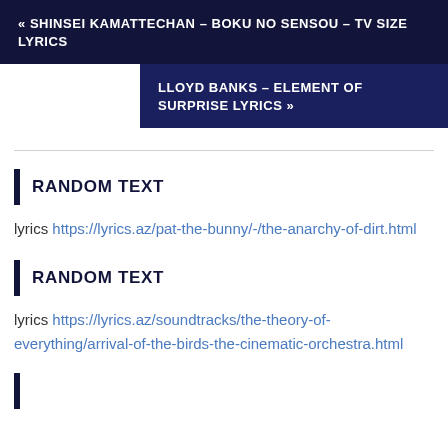« SHINSEI KAMATTECHAN – BOKU NO SENSOU – TV SIZE LYRICS
LLOYD BANKS – ELEMENT OF SURPRISE LYRICS »
RANDOM TEXT
lyrics https://lyrics.az/pat-the-bunny/-/the-anarchy-of-dirt.html
RANDOM TEXT
lyrics https://lyrics.az/soundtracks/the-theory-of-everything/arrival-of-the-birds-the-cinematic-orchestra.html